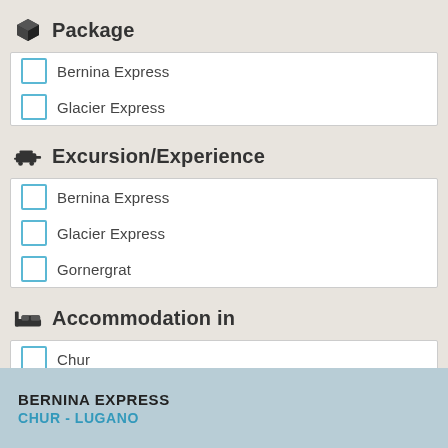Package
Bernina Express
Glacier Express
Excursion/Experience
Bernina Express
Glacier Express
Gornergrat
Accommodation in
Chur
Lugano
St. Moritz
Zermatt
BERNINA EXPRESS
CHUR - LUGANO